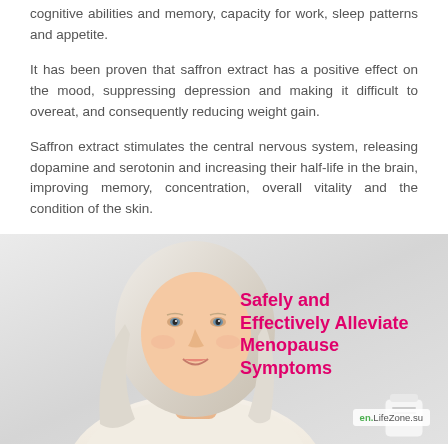cognitive abilities and memory, capacity for work, sleep patterns and appetite.
It has been proven that saffron extract has a positive effect on the mood, suppressing depression and making it difficult to overeat, and consequently reducing weight gain.
Saffron extract stimulates the central nervous system, releasing dopamine and serotonin and increasing their half-life in the brain, improving memory, concentration, overall vitality and the condition of the skin.
[Figure (photo): Middle-aged smiling blonde woman with overlay text reading 'Safely and Effectively Alleviate Menopause Symptoms' in pink, and a watermark 'en.LifeZone.su' at bottom right.]